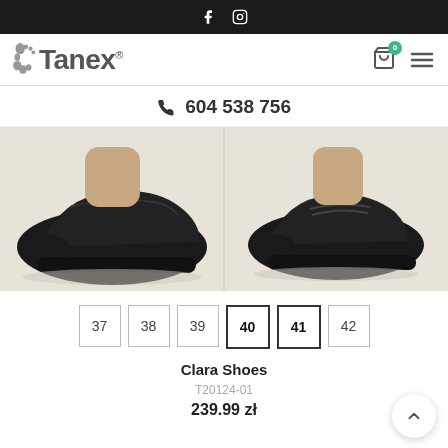Social media icons: Facebook, Instagram
[Figure (logo): Tanex shoe brand logo with footprint icon]
📞 604 538 756
[Figure (photo): Black leather slip-on shoes (Clara Shoes) shown from two angles on a light surface]
37 38 39 40 41 42 (size selectors, 40 and 41 highlighted)
Clara Shoes
T20124-01
239.99 zł